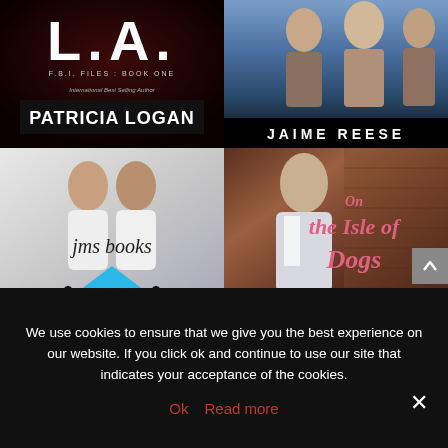[Figure (photo): Book cover for 'L.A. FBI Files Book One' by Patricia Logan, dark red/black background]
[Figure (photo): Book cover by Jaime Reese showing three people on a blue/dark background]
[Figure (logo): JMS Books logo — two men about to kiss, with jms books text, blue triangle, and decorative swirl]
[Figure (photo): Book cover 'On the Isle of Dogs' with a young man in suit against brick background, pink/red title text]
We use cookies to ensure that we give you the best experience on our website. If you click ok and continue to use our site that indicates your acceptance of the cookies.
Ok   Read more